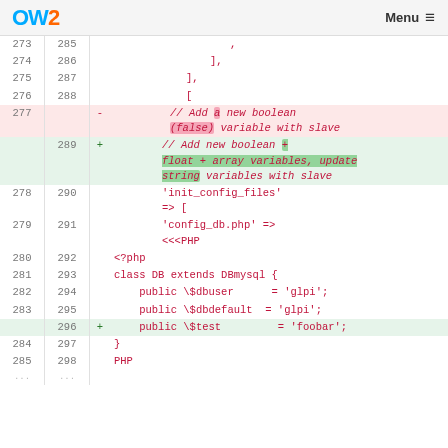OW2  Menu
[Figure (screenshot): Code diff view showing lines 273-298 of a PHP configuration file with additions and deletions highlighted]
273 285 ,
274 286     ],
275 287   ],
276 288   [
277 - // Add a new boolean (false) variable with slave
289 + // Add new boolean + float + array variables, update string variables with slave
278 290 'init_config_files' => [
279 291 'config_db.php' => <<<PHP
280 292 <?php
281 293 class DB extends DBmysql {
282 294     public \$dbuser       = 'glpi';
283 295     public \$dbdefault  = 'glpi';
296 + public \$test          = 'foobar';
284 297 }
285 298 PHP